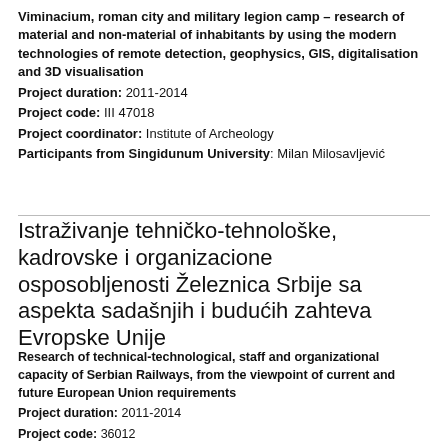Viminacium, roman city and military legion camp – research of material and non-material of inhabitants by using the modern technologies of remote detection, geophysics, GIS, digitalisation and 3D visualisation
Project duration: 2011-2014
Project code: III 47018
Project coordinator: Institute of Archeology
Participants from Singidunum University: Milan Milosavljević
Istraživanje tehničko-tehnološke, kadrovske i organizacione osposobljenosti Železnica Srbije sa aspekta sadašnjih i budućih zahteva Evropske Unije
Research of technical-technological, staff and organizational capacity of Serbian Railways, from the viewpoint of current and future European Union requirements
Project duration: 2011-2014
Project code: 36012
Project coordinator: Faculty of Transport and Traffic Engineering, University of Belgrade
Participants from Singidunum University: Irina Branović